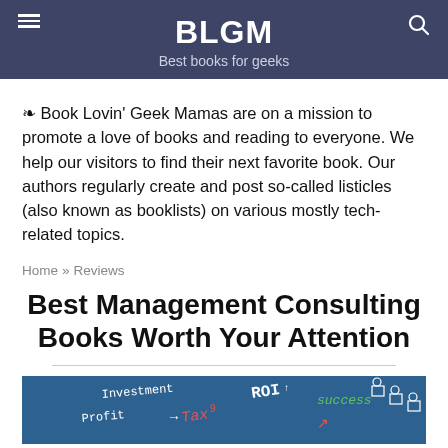BLGM
Best books for geeks
❧ Book Lovin' Geek Mamas are on a mission to promote a love of books and reading to everyone. We help our visitors to find their next favorite book. Our authors regularly create and post so-called listicles (also known as booklists) on various mostly tech-related topics.
Home » Reviews
Best Management Consulting Books Worth Your Attention
[Figure (photo): Blue chalkboard background with handwritten financial/business terms: Investment, Profit, Tax, ROI, Success, with arrows and stick figure diagrams]